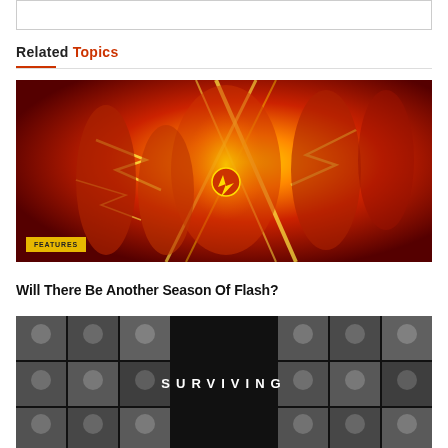Related Topics
[Figure (photo): Promotional image for The Flash TV series showing cast members in red costumes against a fiery background with lightning. A yellow 'FEATURES' badge appears in the lower left corner.]
Will There Be Another Season Of Flash?
[Figure (photo): Black and white promotional image for 'Surviving' showing a grid of cast faces on left and right sides with the word SURVIVING in white letters in the center on a dark background.]